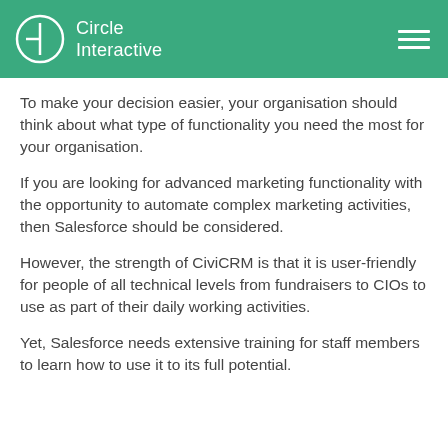Circle Interactive
To make your decision easier, your organisation should think about what type of functionality you need the most for your organisation.
If you are looking for advanced marketing functionality with the opportunity to automate complex marketing activities, then Salesforce should be considered.
However, the strength of CiviCRM is that it is user-friendly for people of all technical levels from fundraisers to CIOs to use as part of their daily working activities.
Yet, Salesforce needs extensive training for staff members to learn how to use it to its full potential.